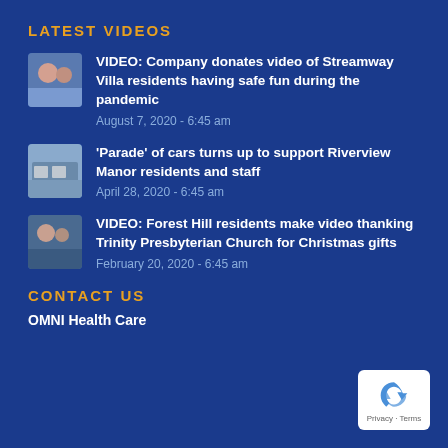LATEST VIDEOS
VIDEO: Company donates video of Streamway Villa residents having safe fun during the pandemic
August 7, 2020 - 6:45 am
'Parade' of cars turns up to support Riverview Manor residents and staff
April 28, 2020 - 6:45 am
VIDEO: Forest Hill residents make video thanking Trinity Presbyterian Church for Christmas gifts
February 20, 2020 - 6:45 am
CONTACT US
OMNI Health Care